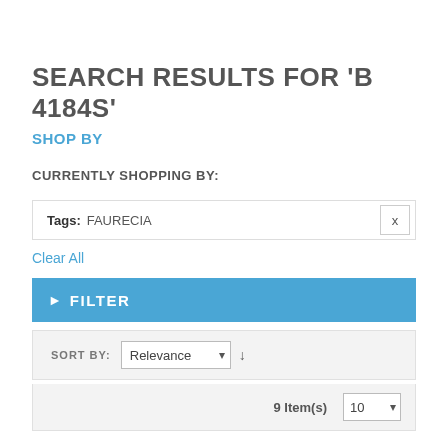SEARCH RESULTS FOR 'B 4184S'
SHOP BY
CURRENTLY SHOPPING BY:
Tags: FAURECIA
Clear All
▶ FILTER
SORT BY: Relevance ↓
9 Item(s)  10